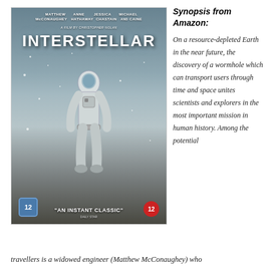[Figure (photo): Interstellar movie DVD cover showing an astronaut in a white space suit walking on a snowy/icy alien landscape with mountains in background. Cast names: Matthew McConaughey, Anne Hathaway, Jessica Chastain, Michael Caine. Directed by Christopher Nolan. '12' rating badges on lower left (blue hexagon) and lower right (red circle). Quote: 'AN INSTANT CLASSIC']
Synopsis from Amazon:
On a resource-depleted Earth in the near future, the discovery of a wormhole which can transport users through time and space unites scientists and explorers in the most important mission in human history. Among the potential travellers is a widowed engineer (Matthew McConaughey) who